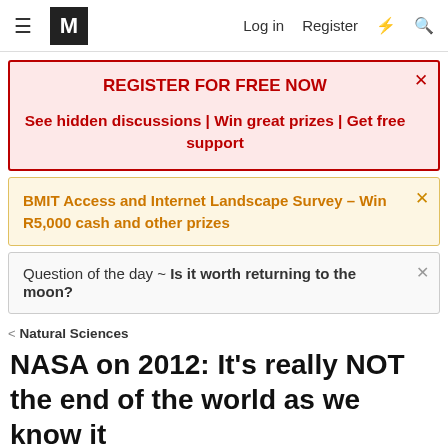≡ M  Log in  Register
REGISTER FOR FREE NOW
See hidden discussions | Win great prizes | Get free support
BMIT Access and Internet Landscape Survey – Win R5,000 cash and other prizes
Question of the day ~ Is it worth returning to the moon?
< Natural Sciences
NASA on 2012: It's really NOT the end of the world as we know it
mercurial · Jan 13, 2012 · 2012  nasa